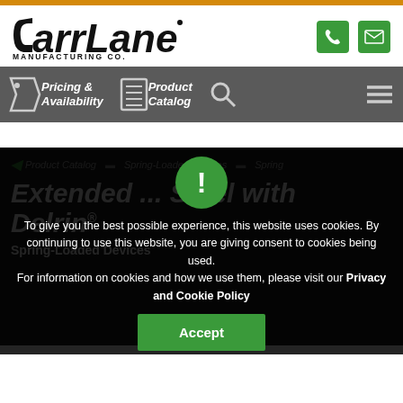[Figure (logo): Carr Lane Manufacturing Co. logo with phone and mail icons]
Pricing & Availability  Product Catalog  [search] [menu]
Product Catalog  Spring-Loaded Devices  Spring
Extended ... Steel with Delrin®
Spring-Loaded Devices
To give you the best possible experience, this website uses cookies. By continuing to use this website, you are giving consent to cookies being used. For information on cookies and how we use them, please visit our Privacy and Cookie Policy
Accept